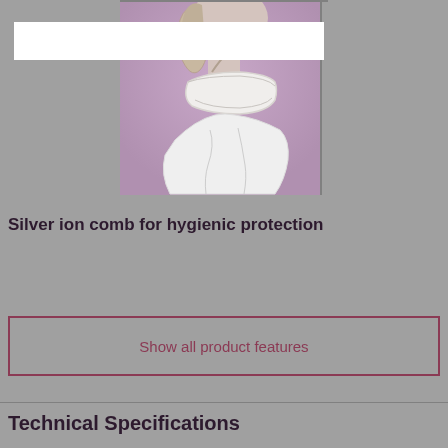[Figure (photo): Product photo showing a woman wearing a medical/orthopedic cervical collar or neck brace, depicted as an illustration against a purple/lavender background. The white collar is shown from a side/back angle with straps visible.]
Silver ion comb for hygienic protection
Show all product features
Technical Specifications